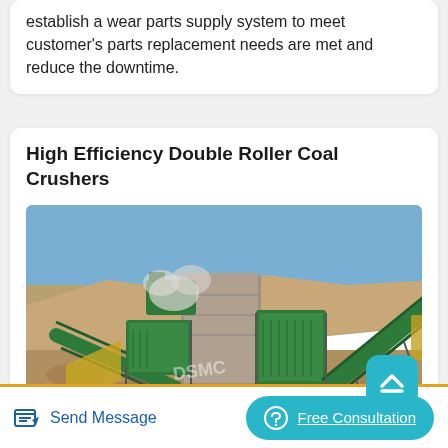establish a wear parts supply system to meet customer's parts replacement needs are met and reduce the downtime.
High Efficiency Double Roller Coal Crushers
[Figure (photo): Outdoor industrial coal crushing plant with green-painted machinery, conveyor belts, and dust emission visible, set against a rocky quarry hillside. A watermark reading 'DSMC' is visible.]
Send Message   Free Consultation